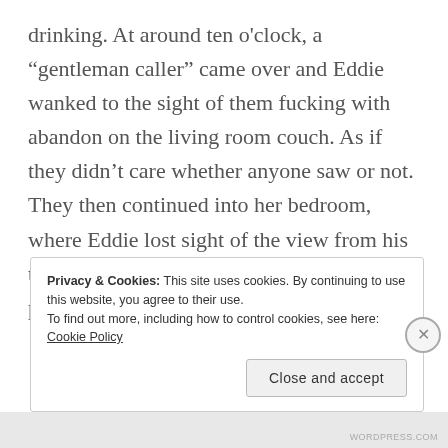drinking. At around ten o'clock, a “gentleman caller” came over and Eddie wanked to the sight of them fucking with abandon on the living room couch. As if they didn’t care whether anyone saw or not. They then continued into her bedroom, where Eddie lost sight of the view from his truck. That’s when he decided to get out and poke around.
Privacy & Cookies: This site uses cookies. By continuing to use this website, you agree to their use.
To find out more, including how to control cookies, see here: Cookie Policy
Close and accept